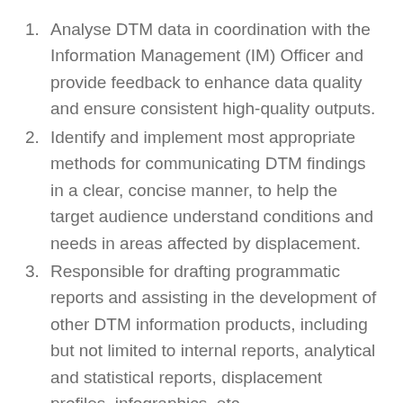Analyse DTM data in coordination with the Information Management (IM) Officer and provide feedback to enhance data quality and ensure consistent high-quality outputs.
Identify and implement most appropriate methods for communicating DTM findings in a clear, concise manner, to help the target audience understand conditions and needs in areas affected by displacement.
Responsible for drafting programmatic reports and assisting in the development of other DTM information products, including but not limited to internal reports, analytical and statistical reports, displacement profiles, infographics, etc.
In coordination with the IM Officer, format DTM reports and products, ensuring consistent and